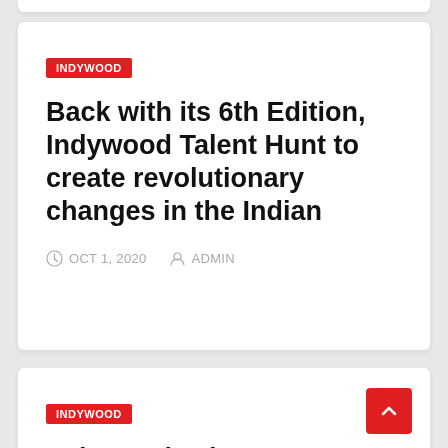INDYWOOD
Back with its 6th Edition, Indywood Talent Hunt to create revolutionary changes in the Indian
OCT 1, 2020   ADMIN
INDYWOOD
Indywood Talent Hunt International 2020: The Biggest...